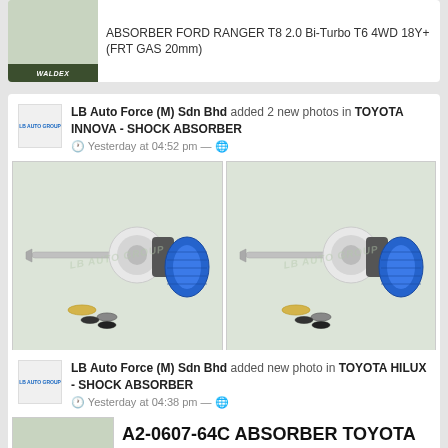ABSORBER FORD RANGER T8 2.0 Bi-Turbo T6 4WD 18Y+ (FRT GAS 20mm)
LB Auto Force (M) Sdn Bhd added 2 new photos in TOYOTA INNOVA - SHOCK ABSORBER
Yesterday at 04:52 pm —
[Figure (photo): Shock absorber with white top mount, metal shaft, black body, blue accordion boot, and hardware components (washers, bushings) shown below]
[Figure (photo): Shock absorber with white top mount, metal shaft, black body, blue accordion boot, and hardware components (washers, bushings) shown below - alternate angle]
LB Auto Force (M) Sdn Bhd added new photo in TOYOTA HILUX - SHOCK ABSORBER
Yesterday at 04:38 pm —
[Figure (photo): Partial view of shock absorber product image with Waldex branding bar]
A2-0607-64C ABSORBER TOYOTA HILUX LN107